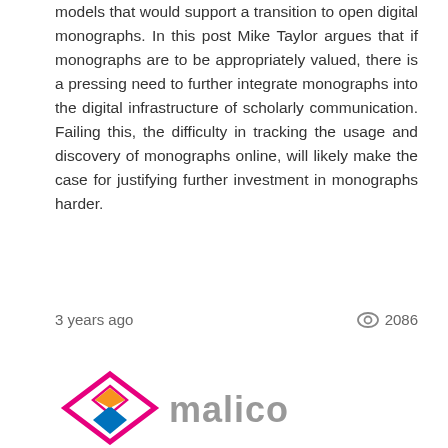models that would support a transition to open digital monographs. In this post Mike Taylor argues that if monographs are to be appropriately valued, there is a pressing need to further integrate monographs into the digital infrastructure of scholarly communication. Failing this, the difficulty in tracking the usage and discovery of monographs online, will likely make the case for justifying further investment in monographs harder.
3 years ago   2086
[Figure (logo): Malico logo — diamond shape with pink/magenta outline and orange inner diamond on top, blue inner diamond on bottom, with grey text 'malico' beside it]